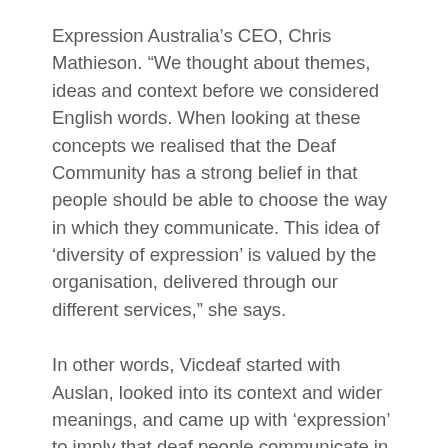Expression Australia's CEO, Chris Mathieson. “We thought about themes, ideas and context before we considered English words. When looking at these concepts we realised that the Deaf Community has a strong belief in that people should be able to choose the way in which they communicate. This idea of ‘diversity of expression’ is valued by the organisation, delivered through our different services,” she says.
In other words, Vicdeaf started with Auslan, looked into its context and wider meanings, and came up with ‘expression’ to imply that deaf people communicate in a variety of ways. That makes a certain sense, although it misses the protective feeling that many deaf people have for the word ‘deaf’.
“ ‘Expression’ is very broad,” continues Mathieson. “It